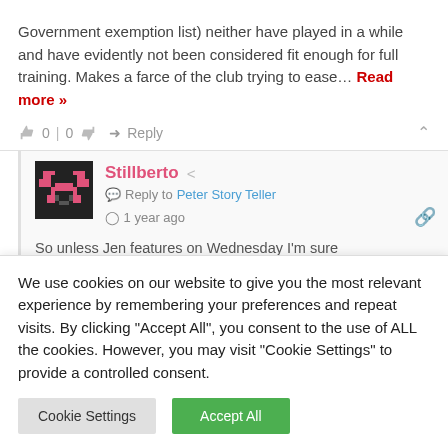Government exemption list) neither have played in a while and have evidently not been considered fit enough for full training. Makes a farce of the club trying to ease… Read more »
0 | 0   Reply
Stillberto   Reply to Peter Story Teller   1 year ago
So unless Jen features on Wednesday I'm sure
We use cookies on our website to give you the most relevant experience by remembering your preferences and repeat visits. By clicking "Accept All", you consent to the use of ALL the cookies. However, you may visit "Cookie Settings" to provide a controlled consent.